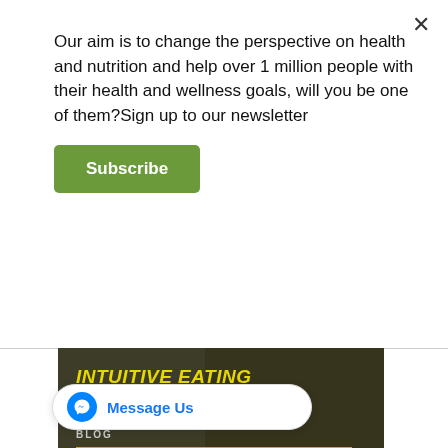Our aim is to change the perspective on health and nutrition and help over 1 million people with their health and wellness goals, will you be one of them?Sign up to our newsletter
Subscribe
[Figure (illustration): Dark-toned blog banner with yellow bold italic text 'INTUITIVE EATING', label 'BLOG', a horizontal yellow line, URL 'NUTRI-TRAIN.COM', and a yellow circle dot. Background shows a dark-tinted person image.]
Intuitive eating is simply the process of:
understanding what you're eating and how that makes you feel,
eating until you're nearly full,
enjoying the foods you love (guilt-free),
and the whole feeding your body and mind with good nutritious food.